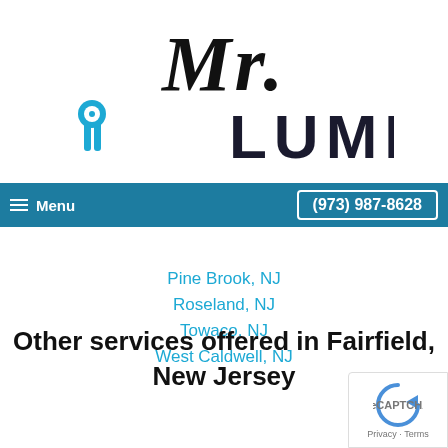[Figure (logo): Mr. Plumber logo with stylized cursive 'Mr.' text above and a blue pipe/plumber icon next to bold uppercase 'LUMBER' text]
Menu   (973) 987-8628
Pine Brook, NJ
Roseland, NJ
Towaco, NJ
West Caldwell, NJ
Other services offered in Fairfield, New Jersey